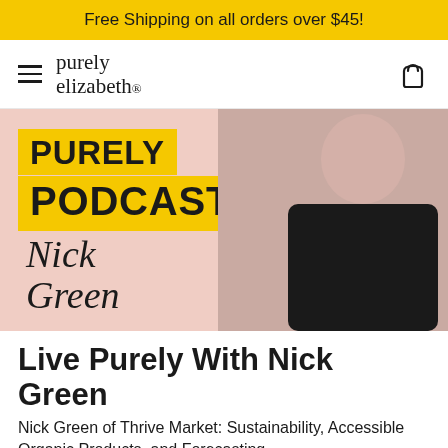Free Shipping on all orders over $45!
[Figure (logo): Purely Elizabeth brand logo with hamburger menu icon on the left and basket icon on the right]
[Figure (photo): Purely Podcast promotional image with yellow 'PURELY PODCAST' text blocks on a pink background, with a man in a black sweater on the right side, and cursive 'Nick Green' text in the lower left]
Live Purely With Nick Green
Nick Green of Thrive Market: Sustainability, Accessible Organic Products, and Forecasting